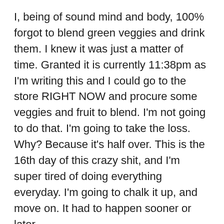I, being of sound mind and body, 100% forgot to blend green veggies and drink them. I knew it was just a matter of time. Granted it is currently 11:38pm as I'm writing this and I could go to the store RIGHT NOW and procure some veggies and fruit to blend. I'm not going to do that. I'm going to take the loss. Why? Because it's half over. This is the 16th day of this crazy shit, and I'm super tired of doing everything everyday. I'm going to chalk it up, and move on. It had to happen sooner or later.
There has got to be a repercussion for this though, right? So I think I'm going to kick it into high gear for the second 1/2 of the 30 day stupid guy challenge. I'm going to wake up everyday before 7am instead of 8am. I'm going to add a weight lifting workout to my workouts everyday as well. Starting tomorrow after work I'm going to leave my car at work, and bike to and from work everyday. I'm also going